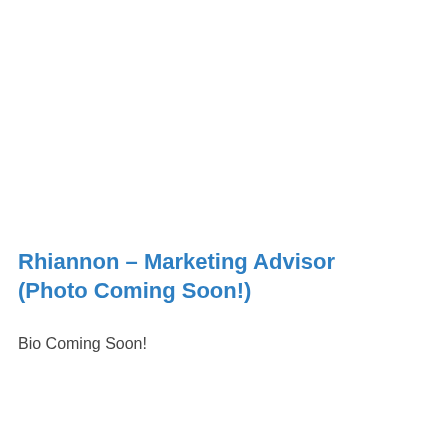Rhiannon – Marketing Advisor (Photo Coming Soon!)
Bio Coming Soon!